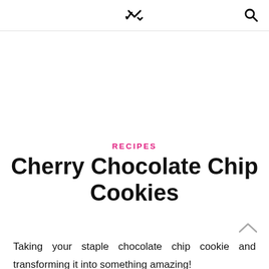✓ 🔍
RECIPES
Cherry Chocolate Chip Cookies
Taking your staple chocolate chip cookie and transforming it into something amazing!